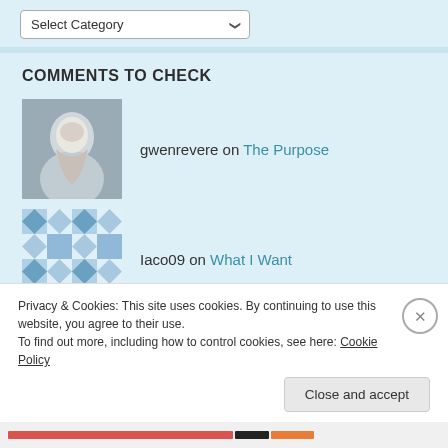[Figure (screenshot): Select Category dropdown widget at top of page]
COMMENTS TO CHECK
gwenrevere on The Purpose
Iaco09 on What I Want
Arthur on Great-Great Grandpa Alfred
Loretta Williams on Being Church
Privacy & Cookies: This site uses cookies. By continuing to use this website, you agree to their use. To find out more, including how to control cookies, see here: Cookie Policy
Close and accept